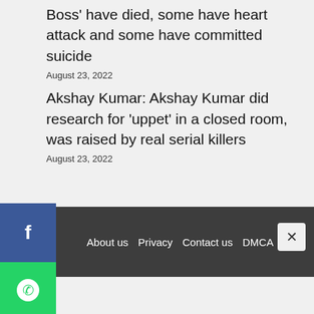Boss' have died, some have heart attack and some have committed suicide
August 23, 2022
Akshay Kumar: Akshay Kumar did research for 'puppet' in a closed room, was raised by real serial killers
August 23, 2022
About us  Privacy  Contact us  DMCA